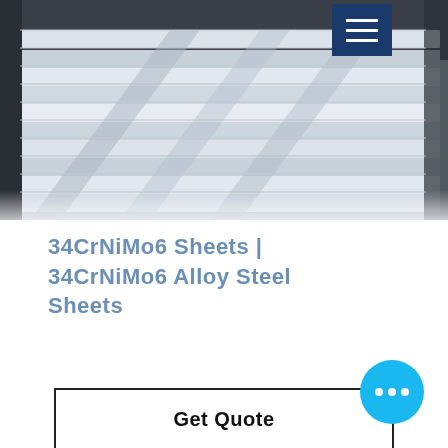[Figure (photo): Photo of stainless/alloy steel sheets stacked and overlapping, industrial setting, with a dark navy blue hamburger menu icon overlay in the upper right area.]
34CrNiMo6 Sheets | 34CrNiMo6 Alloy Steel Sheets
Get Quote
[Figure (other): Blue circular chat/messaging button with three white dots (ellipsis) in the lower right corner.]